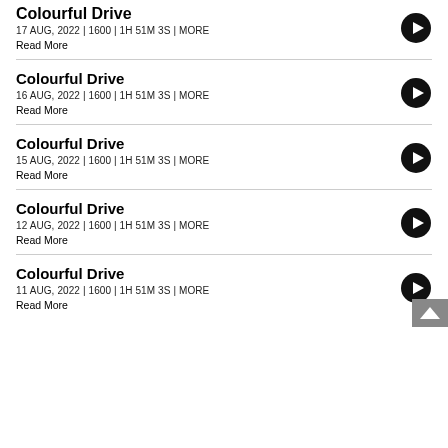Colourful Drive
17 AUG, 2022 | 1600 | 1H 51M 3S | MORE
Read More
Colourful Drive
16 AUG, 2022 | 1600 | 1H 51M 3S | MORE
Read More
Colourful Drive
15 AUG, 2022 | 1600 | 1H 51M 3S | MORE
Read More
Colourful Drive
12 AUG, 2022 | 1600 | 1H 51M 3S | MORE
Read More
Colourful Drive
11 AUG, 2022 | 1600 | 1H 51M 3S | MORE
Read More